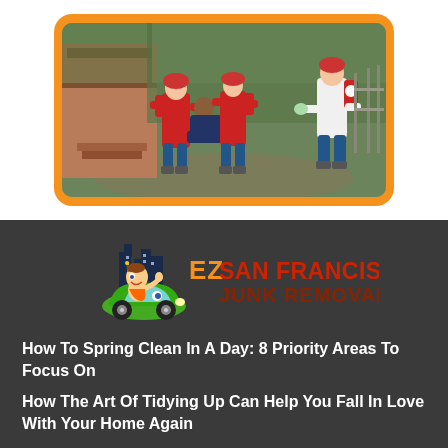[Figure (photo): Rescue workers in red uniforms carrying an injured person near a dilapidated wooden building, surrounded by overgrown vegetation. Three rescue personnel visible, with backpacks.]
[Figure (logo): EZ San Francisco Junk Removal logo — cartoon character driving a green car with city buildings in background, orange text 'EZ SAN FRANCISCO' and dark red 'JUNK REMOVAL']
How To Spring Clean In A Day: 8 Priority Areas To Focus On
How The Art Of Tidying Up Can Help You Fall In Love With Your Home Again